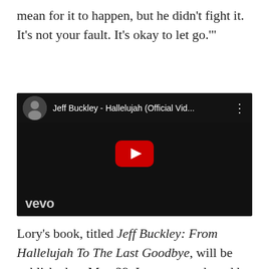mean for it to happen, but he didn't fight it. It's not your fault. It's okay to let go.'"
[Figure (screenshot): YouTube video embed showing Jeff Buckley - Hallelujah (Official Vid... with Vevo branding, dark music video thumbnail with play button]
Lory's book, titled Jeff Buckley: From Hallelujah To The Last Goodbye, will be published on May 29. It was co-authored by Jim Irvin, and Lory will embark